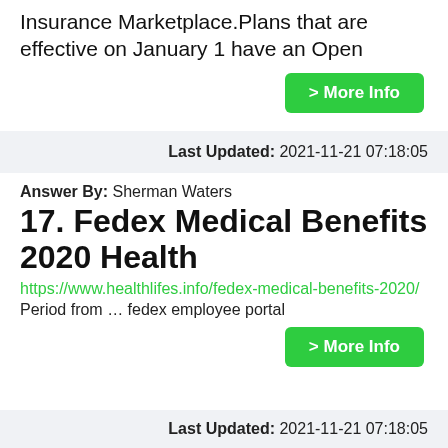Insurance Marketplace.Plans that are effective on January 1 have an Open
> More Info
Last Updated: 2021-11-21 07:18:05
Answer By: Sherman Waters
17. Fedex Medical Benefits 2020 Health
https://www.healthlifes.info/fedex-medical-benefits-2020/
Period from … fedex employee portal
> More Info
Last Updated: 2021-11-21 07:18:05